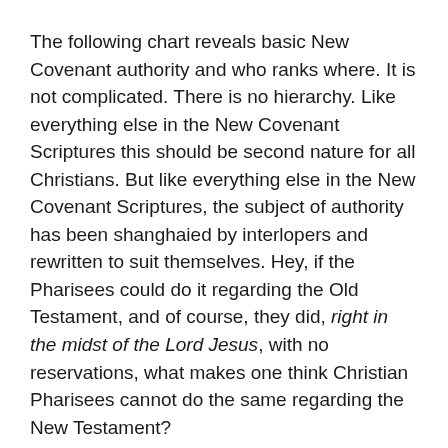The following chart reveals basic New Covenant authority and who ranks where. It is not complicated. There is no hierarchy. Like everything else in the New Covenant Scriptures this should be second nature for all Christians. But like everything else in the New Covenant Scriptures, the subject of authority has been shanghaied by interlopers and rewritten to suit themselves. Hey, if the Pharisees could do it regarding the Old Testament, and of course, they did, right in the midst of the Lord Jesus, with no reservations, what makes one think Christian Pharisees cannot do the same regarding the New Testament?
FIRST—
THE LORD JESUS: